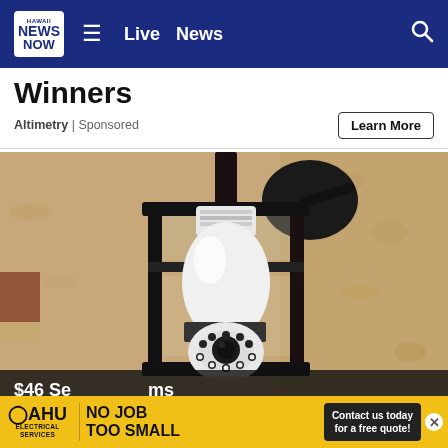Hawaii News Now — Live  News
Winners
Altimetry | Sponsored
Learn More
[Figure (photo): A light bulb security camera installed inside an outdoor wall lantern fixture mounted on a textured stucco wall.]
$46 Se… ams Seem…
[Figure (infographic): Oahu Electrical Services advertisement banner: NO JOB TOO SMALL. Contact us today for a free quote!]